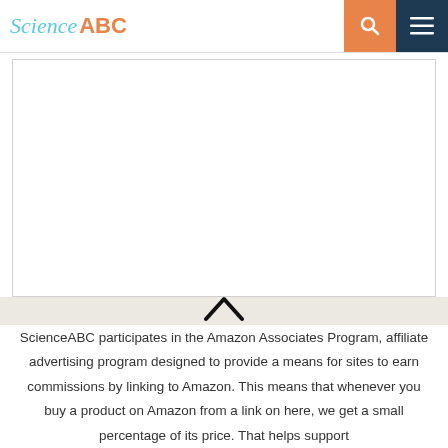Science ABC
[Figure (other): Blank white image placeholder with light grey bottom strip]
ScienceABC participates in the Amazon Associates Program, affiliate advertising program designed to provide a means for sites to earn commissions by linking to Amazon. This means that whenever you buy a product on Amazon from a link on here, we get a small percentage of its price. That helps support